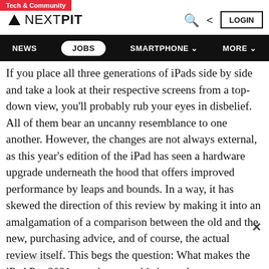Tech & Community
NEXTPIT — NEWS | JOBS | SMARTPHONE | MORE — LOGIN
If you place all three generations of iPads side by side and take a look at their respective screens from a top-down view, you'll probably rub your eyes in disbelief. All of them bear an uncanny resemblance to one another. However, the changes are not always external, as this year's edition of the iPad has seen a hardware upgrade underneath the hood that offers improved performance by leaps and bounds. In a way, it has skewed the direction of this review by making it into an amalgamation of a comparison between the old and the new, purchasing advice, and of course, the actual review itself. This begs the question: What makes the iPad Pro 2021 even better and is it worth